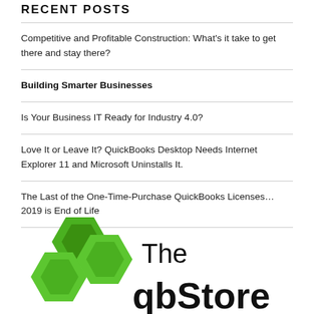RECENT POSTS
Competitive and Profitable Construction: What's it take to get there and stay there?
Building Smarter Businesses
Is Your Business IT Ready for Industry 4.0?
Love It or Leave It? QuickBooks Desktop Needs Internet Explorer 11 and Microsoft Uninstalls It.
The Last of the One-Time-Purchase QuickBooks Licenses… 2019 is End of Life
[Figure (logo): The qbStore logo with green hexagon icons and black text reading 'The qbStore']